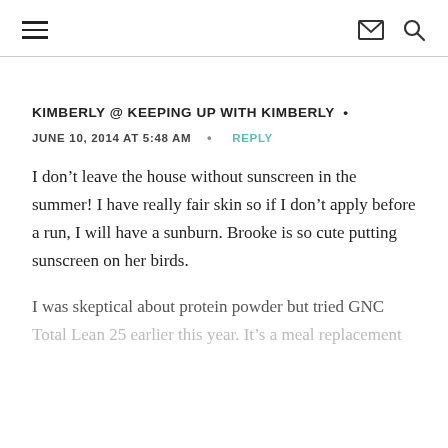≡  ✉ 🔍
KIMBERLY @ KEEPING UP WITH KIMBERLY •
JUNE 10, 2014 AT 5:48 AM  •  REPLY
I don't leave the house without sunscreen in the summer! I have really fair skin so if I don't apply before a run, I will have a sunburn. Brooke is so cute putting sunscreen on her birds.
I was skeptical about protein powder but tried GNC Total Lean 25 earlier this year. It's a meal replacement